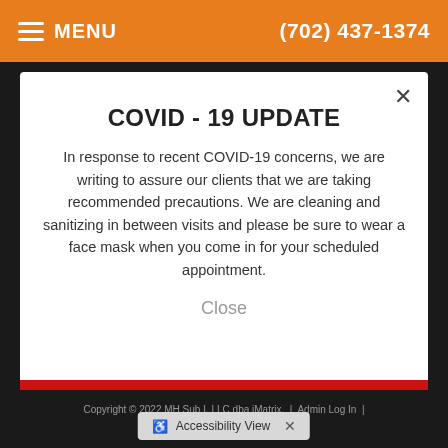MENU  (702) 437-1374
COVID - 19 UPDATE
In response to recent COVID-19 concerns, we are writing to assure our clients that we are taking recommended precautions. We are cleaning and sanitizing in between visits and please be sure to wear a face mask when you come in for your scheduled appointment.
Close
Copyright © 2022 MH Sub I, LLC dba iMatrix.  |  Admin Log In  |
Accessibility View  ×